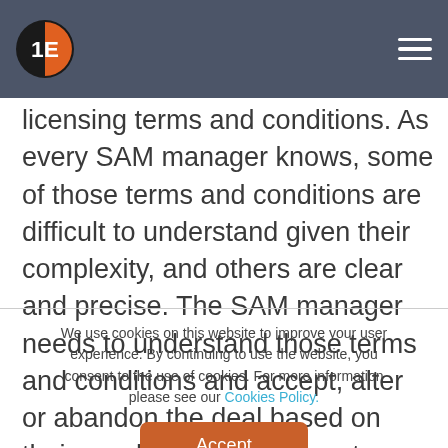1E logo and navigation menu
licensing terms and conditions. As every SAM manager knows, some of those terms and conditions are difficult to understand given their complexity, and others are clear and precise. The SAM manager needs to understand those terms and conditions and accept, alter or abandon the deal based on their needs and requirements.
We use cookies on this website to improve your user experience. By continuing to use the website, you consent to the use of cookies. For more information please see our Cookies Policy.
Accept